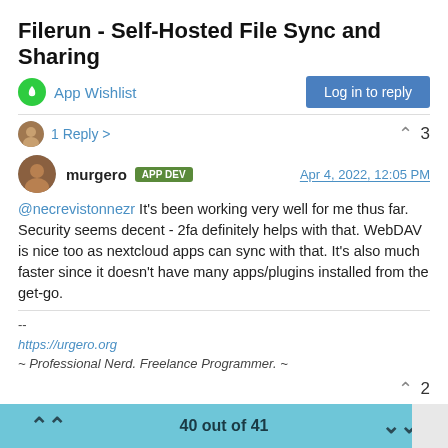Filerun - Self-Hosted File Sync and Sharing
App Wishlist
Log in to reply
1 Reply >
3
murgero APP DEV  Apr 4, 2022, 12:05 PM
@necrevistonnezr It's been working very well for me thus far. Security seems decent - 2fa definitely helps with that. WebDAV is nice too as nextcloud apps can sync with that. It's also much faster since it doesn't have many apps/plugins installed from the get-go.
--
https://urgero.org
~ Professional Nerd. Freelance Programmer. ~
2
40 out of 41